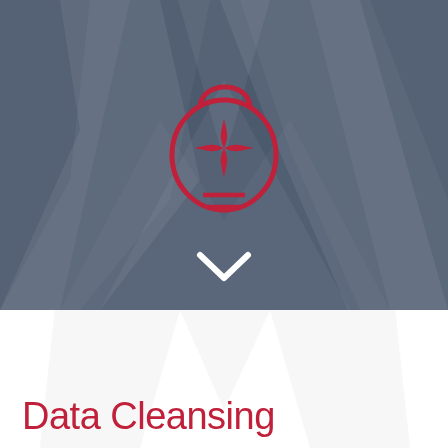[Figure (illustration): Dark blue-grey background with a large semi-transparent W shape/watermark. In the center-top area, a red outlined icon of a light bulb with a 4-pointed star/sparkle inside it. Below the bulb icon, a white downward chevron/arrow mark.]
Data Cleansing